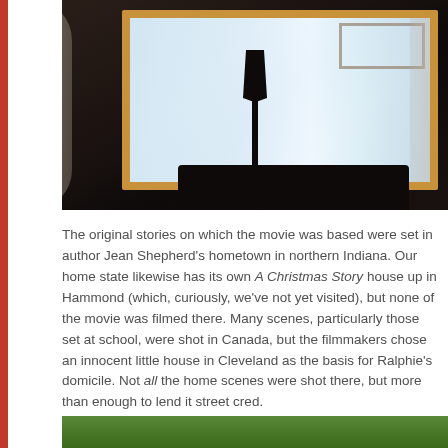[Figure (photo): Indoor photograph showing a lamp silhouette on a dark platform/nightstand in front of a window with wooden frame, curtains on the sides, and a deck/railing visible outside. Mostly dark/shadowed interior.]
The original stories on which the movie was based were set in author Jean Shepherd's hometown in northern Indiana. Our home state likewise has its own A Christmas Story house up in Hammond (which, curiously, we've not yet visited), but none of the movie was filmed there. Many scenes, particularly those set at school, were shot in Canada, but the filmmakers chose an innocent little house in Cleveland as the basis for Ralphie's domicile. Not all the home scenes were shot there, but more than enough to lend it street cred.
[Figure (photo): Partial view of outdoor greenery/trees, cropped at bottom of page.]